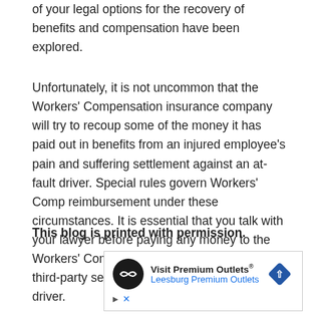of your legal options for the recovery of benefits and compensation have been explored.
Unfortunately, it is not uncommon that the Workers' Compensation insurance company will try to recoup some of the money it has paid out in benefits from an injured employee's pain and suffering settlement against an at-fault driver. Special rules govern Workers' Comp reimbursement under these circumstances. It is essential that you talk with your lawyer before paying any money to the Workers' Comp insurance company from your third-party settlement against the at-fault driver.
This blog is printed with permission.
[Figure (other): Advertisement banner for Visit Premium Outlets - Leesburg Premium Outlets, with circular logo and diamond-shaped navigation icon, plus ad controls (play and close buttons)]